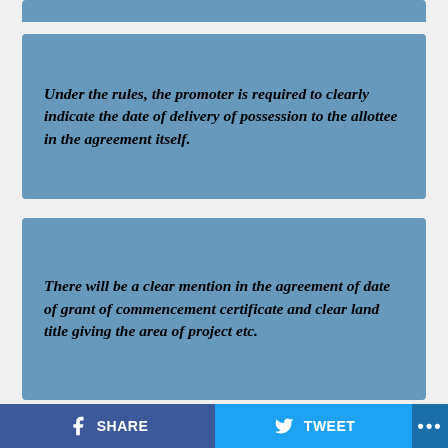Under the rules, the promoter is required to clearly indicate the date of delivery of possession to the allottee in the agreement itself.
There will be a clear mention in the agreement of date of grant of commencement certificate and clear land title giving the area of project etc.
The rules stipulate that total price is escalation-free except when development changes are
SHARE   TWEET   ...